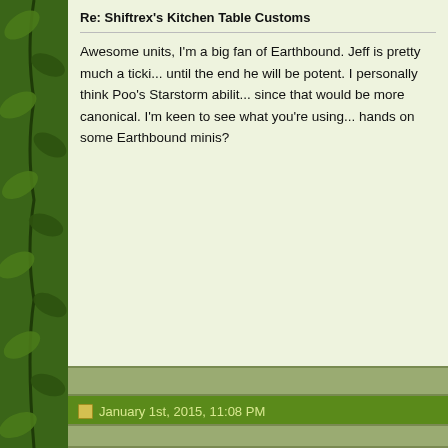Re: Shiftrex's Kitchen Table Customs
Awesome units, I'm a big fan of Earthbound. Jeff is pretty much a ticki... until the end he will be potent. I personally think Poo's Starstorm abilit... since that would be more canonical. I'm keen to see what you're using... hands on some Earthbound minis?
January 1st, 2015, 11:08 PM
iamadoorknob
Re: Shiftrex's Kitchen Table Customs
I also think if you came up with a Starman hero and maybe a squad o... epic.
January 1st, 2015, 11:37 PM
Shiftrex